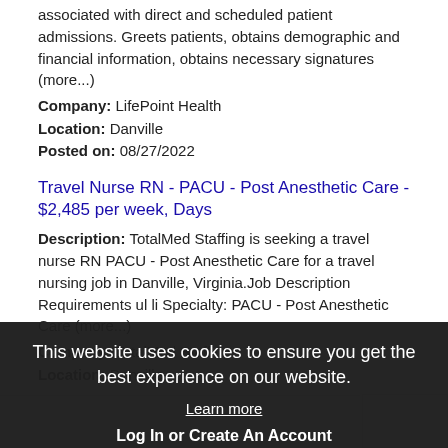associated with direct and scheduled patient admissions. Greets patients, obtains demographic and financial information, obtains necessary signatures (more...)
Company: LifePoint Health
Location: Danville
Posted on: 08/27/2022
Travel Nurse RN - PACU - Post Anesthetic Care - $2,485 per week, Days
Description: TotalMed Staffing is seeking a travel nurse RN PACU - Post Anesthetic Care for a travel nursing job in Danville, Virginia.Job Description Requirements ul li Specialty: PACU - Post Anesthetic Care (more...)
Company: TotalMed Staffing
Location: Danville
Posted On: 08/27/2022
Loading more jobs...
This website uses cookies to ensure you get the best experience on our website.
Learn more
Log In or Create An Account
Got it!
Username: